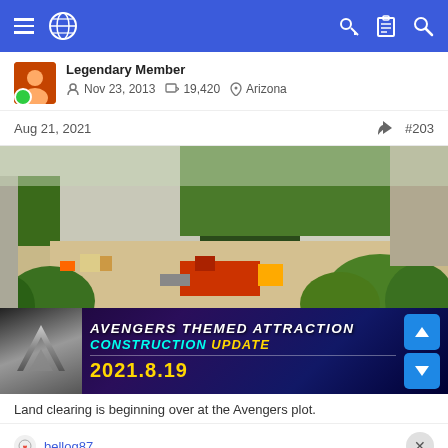Navigation bar with menu, globe icon, key, clipboard, and search icons
Legendary Member
Nov 23, 2013  19,420  Arizona
Aug 21, 2021  #203
[Figure (photo): Construction site photo showing cleared land with machinery, surrounded by vegetation and concrete walls. Banner overlay at bottom reads: AVENGERS THEMED ATTRACTION CONSTRUCTION UPDATE 2021.8.19]
Land clearing is beginning over at the Avengers plot.
bellog87